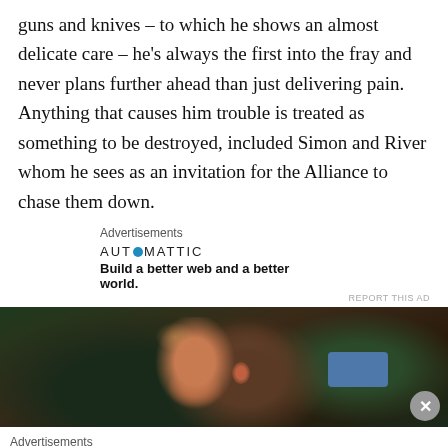guns and knives – to which he shows an almost delicate care – he's always the first into the fray and never plans further ahead than just delivering pain. Anything that causes him trouble is treated as something to be destroyed, included Simon and River whom he sees as an invitation for the Alliance to chase them down.
Advertisements
[Figure (other): Automattic advertisement: logo with blue circle and tagline 'Build a better web and a better world.']
[Figure (photo): Dark photo of a man's face with dramatic side lighting, green foliage in background, blue rectangle visible on right side.]
Advertisements
[Figure (other): Victoria's Secret advertisement with pink background, model on left, VS logo in center, SHOP THE COLLECTION text, and SHOP NOW button on right.]